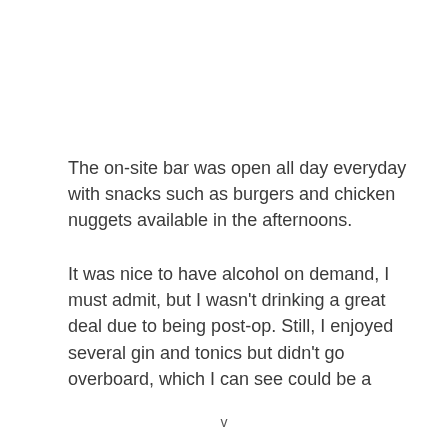The on-site bar was open all day everyday with snacks such as burgers and chicken nuggets available in the afternoons.
It was nice to have alcohol on demand, I must admit, but I wasn't drinking a great deal due to being post-op. Still, I enjoyed several gin and tonics but didn't go overboard, which I can see could be a